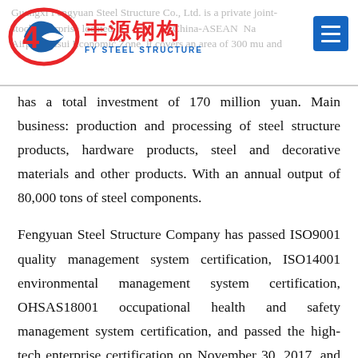[Figure (logo): FY Steel Structure company logo with red circle/arrow emblem, Chinese characters '丰源钢构' in red, and 'FY STEEL STRUCTURE' in blue below. Blue menu icon button on the right.]
Guangxi Fengyuan Steel Structure Co., Ltd. is a private joint-stock enterprise located in the China-ASEAN Nanning Airport Fusui Economic Zone, it covers an area of 300 mu and has a total investment of 170 million yuan. Main business: production and processing of steel structure products, hardware products, steel and decorative materials and other products. With an annual output of 80,000 tons of steel components.
Fengyuan Steel Structure Company has passed ISO9001 quality management system certification, ISO14001 environmental management system certification, OHSAS18001 occupational health and safety management system certification, and passed the high-tech enterprise certification on November 30, 2017, and obtained China Steel Structure in March 2022. First-class certificate of